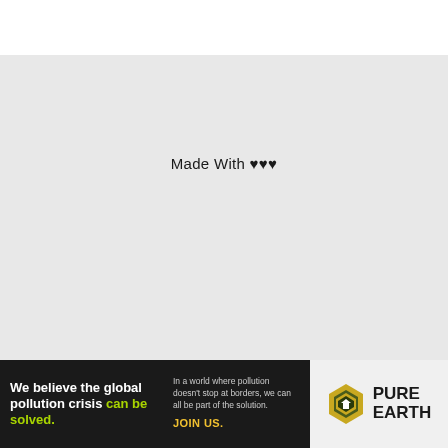Made With ♥♥♥
[Figure (infographic): Pure Earth advertisement banner: black background left side with headline 'We believe the global pollution crisis can be solved.' and body text 'In a world where pollution doesn't stop at borders, we can all be part of the solution. JOIN US.' Right side shows Pure Earth logo (diamond/shield shape with down-arrow in orange/yellow) next to PURE EARTH text.]